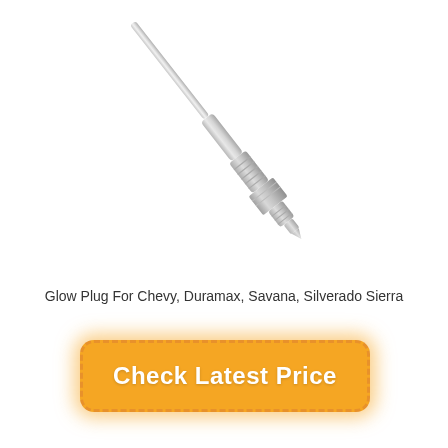[Figure (photo): A silver/metallic glow plug for diesel engines, shown diagonally with the tip at lower-left and the rod extending to upper-right. The plug has a threaded body, hex nut section, and thin elongated probe rod.]
Glow Plug For Chevy, Duramax, Savana, Silverado Sierra
Check Latest Price